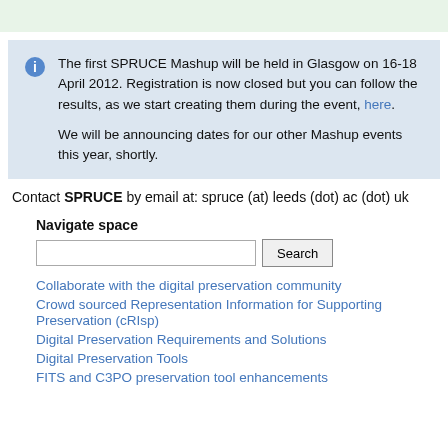[Figure (other): Green bar at top of page]
The first SPRUCE Mashup will be held in Glasgow on 16-18 April 2012. Registration is now closed but you can follow the results, as we start creating them during the event, here.

We will be announcing dates for our other Mashup events this year, shortly.
Contact SPRUCE by email at: spruce (at) leeds (dot) ac (dot) uk
Navigate space
Collaborate with the digital preservation community
Crowd sourced Representation Information for Supporting Preservation (cRIsp)
Digital Preservation Requirements and Solutions
Digital Preservation Tools
FITS and C3PO preservation tool enhancements